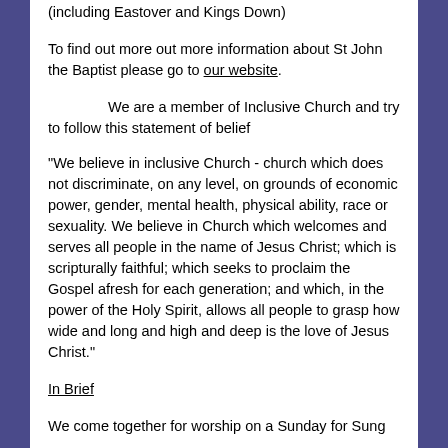(including Eastover and Kings Down)
To find out more out more information about St John the Baptist please go to our website.
We are a member of Inclusive Church and try to follow this statement of belief
"We believe in inclusive Church - church which does not discriminate, on any level, on grounds of economic power, gender, mental health, physical ability, race or sexuality. We believe in Church which welcomes and serves all people in the name of Jesus Christ; which is scripturally faithful; which seeks to proclaim the Gospel afresh for each generation; and which, in the power of the Holy Spirit, allows all people to grasp how wide and long and high and deep is the love of Jesus Christ."
In Brief
We come together for worship on a Sunday for Sung